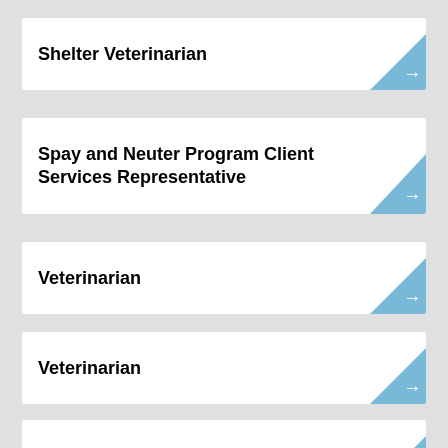Shelter Veterinarian
Spay and Neuter Program Client Services Representative
Veterinarian
Veterinarian
Veterinarian-in-Charge